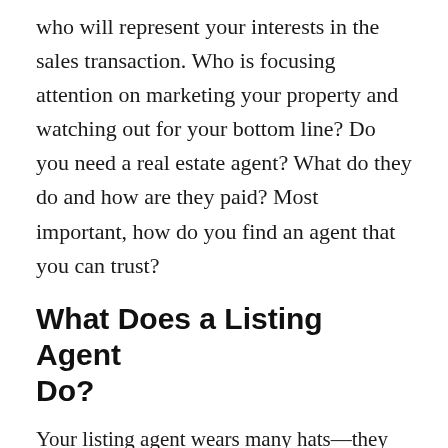who will represent your interests in the sales transaction. Who is focusing attention on marketing your property and watching out for your bottom line? Do you need a real estate agent? What do they do and how are they paid? Most important, how do you find an agent that you can trust?
What Does a Listing Agent Do?
Your listing agent wears many hats—they are your marketing manager, transaction coordinator, a mortgage and closing liason, and a trusted advisor. Here is what you can expect us to accomplish for you:
Obtaining the highest price possible, within the